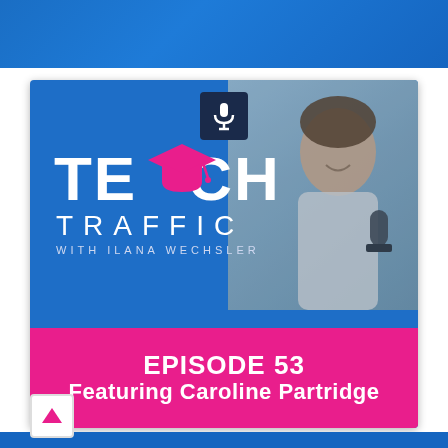[Figure (illustration): Teach Traffic podcast cover image with blue background, TEACH TRAFFIC WITH ILANA WECHSLER logo, pink graduation cap, microphone icon, and a smiling woman holding a microphone on the right side]
EPISODE 53
Featuring Caroline Partridge